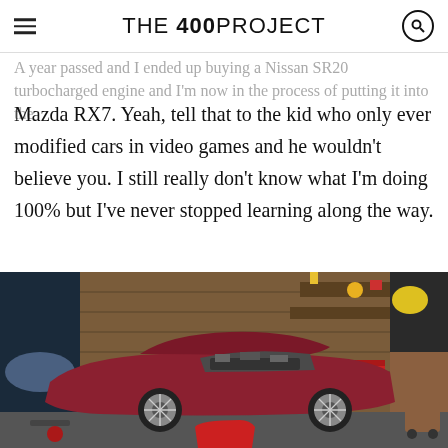THE 400 PROJECT
A year passed and I ended up buying a Nissan SR20 turbocharged engine and I'm now in the process of putting it into the Mazda RX7.
Yeah, tell that to the kid who only ever modified cars in video games and he wouldn't believe you. I still really don't know what I'm doing 100% but I've never stopped learning along the way.
[Figure (photo): A dark red Mazda RX7 with the hood open revealing an engine swap in progress, parked in a cluttered garage with tools and car parts around it.]